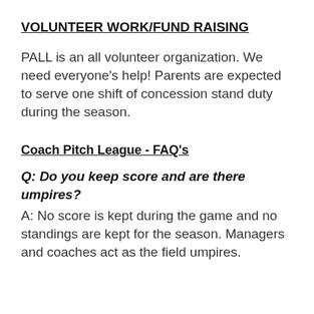VOLUNTEER WORK/FUND RAISING
PALL is an all volunteer organization. We need everyone's help! Parents are expected to serve one shift of concession stand duty during the season.
Coach Pitch League - FAQ's
Q: Do you keep score and are there umpires?
A: No score is kept during the game and no standings are kept for the season. Managers and coaches act as the field umpires.